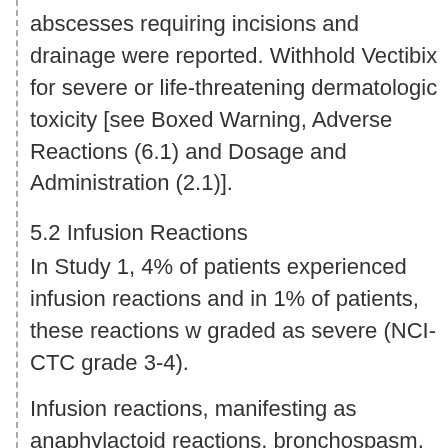abscesses requiring incisions and drainage were reported. Withhold Vectibix for severe or life-threatening dermatologic toxicity [see Boxed Warning, Adverse Reactions (6.1) and Dosage and Administration (2.1)].
5.2 Infusion Reactions
In Study 1, 4% of patients experienced infusion reactions and in 1% of patients, these reactions were graded as severe (NCI-CTC grade 3-4).
Infusion reactions, manifesting as anaphylactoid reactions, bronchospasm, and hypotension, can occur following Vectibix administration [see Boxed Warning, and Adverse Reactions (6.1, 6.3)]. In clinical studies, severe infusion reactions occurred with the administration of Vectibix in approximate [scroll] of